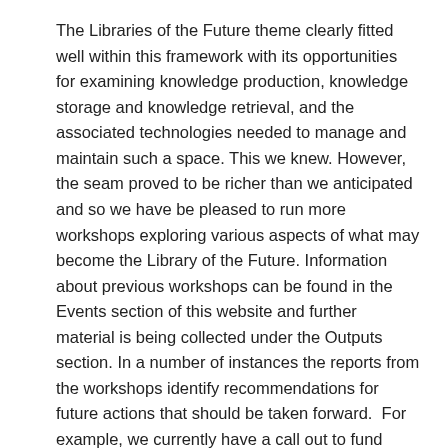The Libraries of the Future theme clearly fitted well within this framework with its opportunities for examining knowledge production, knowledge storage and knowledge retrieval, and the associated technologies needed to manage and maintain such a space. This we knew. However, the seam proved to be richer than we anticipated and so we have be pleased to run more workshops exploring various aspects of what may become the Library of the Future. Information about previous workshops can be found in the Events section of this website and further material is being collected under the Outputs section. In a number of instances the reports from the workshops identify recommendations for future actions that should be taken forward.  For example, we currently have a call out to fund Embedded Librarians.
We are therefore looking for librarians or other information specialists to become, at least for a while, a fully-fledged member of a multidisciplinary research team, contributing to